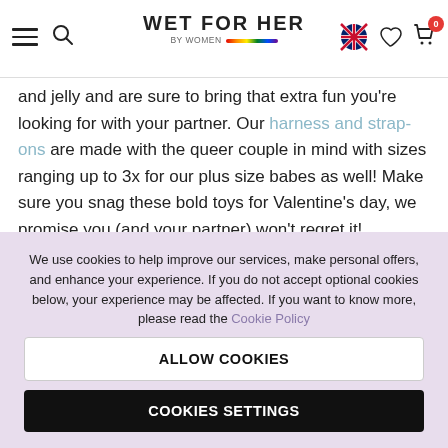WET FOR HER BY WOMEN — navigation bar with hamburger menu, search, language (UK flag), wishlist, and cart (0)
and jelly and are sure to bring that extra fun you're looking for with your partner. Our harness and strap-ons are made with the queer couple in mind with sizes ranging up to 3x for our plus size babes as well! Make sure you snag these bold toys for Valentine's day, we promise you (and your partner) won't regret it!
[Figure (other): Product card strip with SALE and -15% badges on a mint green background]
We use cookies to help improve our services, make personal offers, and enhance your experience. If you do not accept optional cookies below, your experience may be affected. If you want to know more, please read the Cookie Policy
ALLOW COOKIES
COOKIES SETTINGS